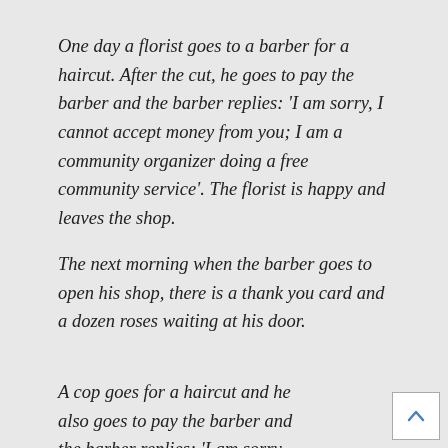One day a florist goes to a barber for a haircut. After the cut, he goes to pay the barber and the barber replies: 'I am sorry, I cannot accept money from you; I am a community organizer doing a free community service'. The florist is happy and leaves the shop.
The next morning when the barber goes to open his shop, there is a thank you card and a dozen roses waiting at his door.
A cop goes for a haircut and he also goes to pay the barber and the barber replies: 'I am sorry,